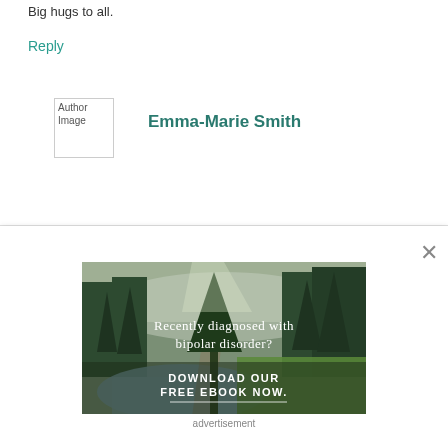Big hugs to all.
Reply
[Figure (other): Author image placeholder icon]
Emma-Marie Smith
[Figure (infographic): Nature scene with forest, river and overlaid text: 'Recently diagnosed with bipolar disorder? DOWNLOAD OUR FREE EBOOK NOW.']
advertisement